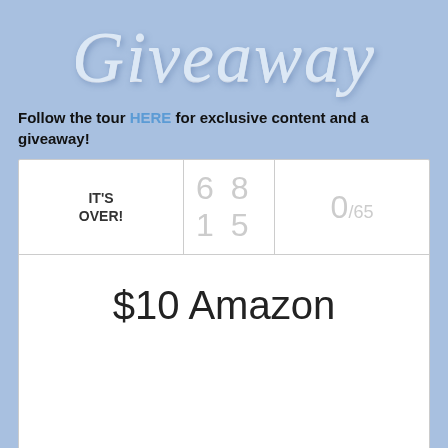Giveaway
Follow the tour HERE for exclusive content and a giveaway!
| IT'S OVER! | 6 8 1 5 | 0/65 |
| --- | --- | --- |
| $10 Amazon |  |  |